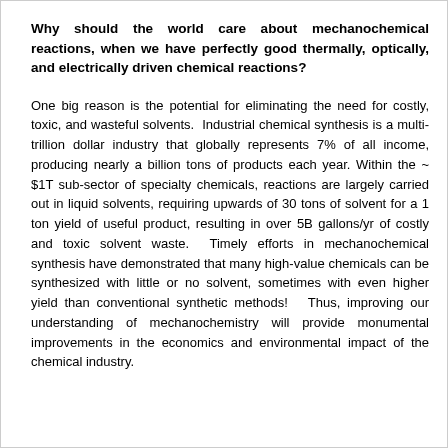Why should the world care about mechanochemical reactions, when we have perfectly good thermally, optically, and electrically driven chemical reactions?
One big reason is the potential for eliminating the need for costly, toxic, and wasteful solvents. Industrial chemical synthesis is a multi-trillion dollar industry that globally represents 7% of all income, producing nearly a billion tons of products each year. Within the ~ $1T sub-sector of specialty chemicals, reactions are largely carried out in liquid solvents, requiring upwards of 30 tons of solvent for a 1 ton yield of useful product, resulting in over 5B gallons/yr of costly and toxic solvent waste. Timely efforts in mechanochemical synthesis have demonstrated that many high-value chemicals can be synthesized with little or no solvent, sometimes with even higher yield than conventional synthetic methods! Thus, improving our understanding of mechanochemistry will provide monumental improvements in the economics and environmental impact of the chemical industry.